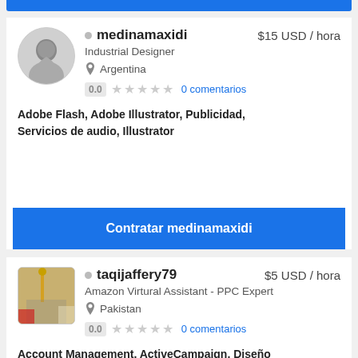[Figure (other): Blue top bar partial element at top]
medinamaxidi  $15 USD / hora
Industrial Designer
Argentina
0.0 ★★★★★ 0 comentarios
Adobe Flash, Adobe Illustrator, Publicidad, Servicios de audio, Illustrator
Contratar medinamaxidi
taqijaffery79  $5 USD / hora
Amazon Virtural Assistant - PPC Expert
Pakistan
0.0 ★★★★★ 0 comentarios
Account Management, ActiveCampaign, Diseño